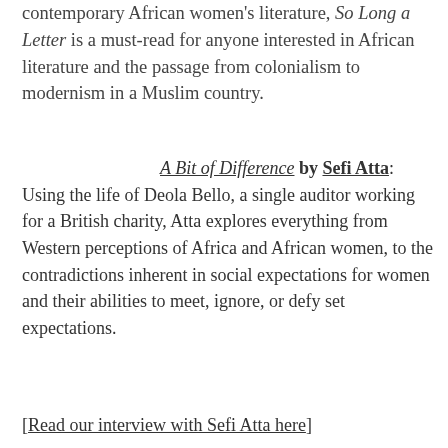contemporary African women's literature, So Long a Letter is a must-read for anyone interested in African literature and the passage from colonialism to modernism in a Muslim country.
A Bit of Difference by Sefi Atta: Using the life of Deola Bello, a single auditor working for a British charity, Atta explores everything from Western perceptions of Africa and African women, to the contradictions inherent in social expectations for women and their abilities to meet, ignore, or defy set expectations.
[Read our interview with Sefi Atta here]